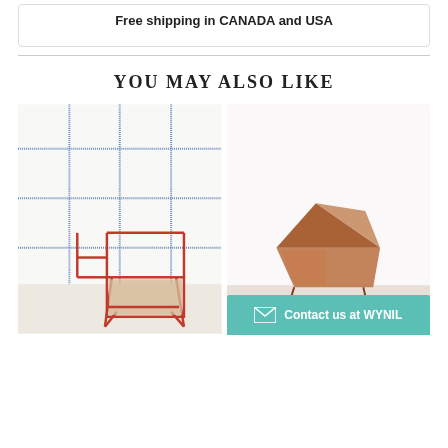Free shipping in CANADA and USA
YOU MAY ALSO LIKE
[Figure (photo): Wallpaper with blue grid lines pattern and a red wire-frame chair in front of it]
[Figure (photo): Wallpaper with pink/red circular floral pattern and a copper/wooden chair in front of it]
Contact us at WYNIL